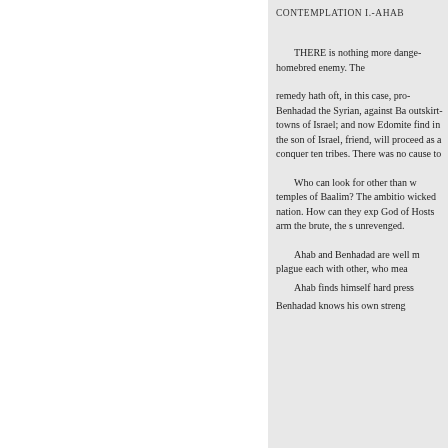CONTEMPLATION I.-AHAB
THERE is nothing more dange homebred enemy. The
remedy hath oft, in this case, pro Benhadad the Syrian, against Ba outskirt-towns of Israel; and now Edomite find in the son of Israel, friend, will proceed as a conquer ten tribes. There was no cause to
Who can look for other than w temples of Baalim? The ambitio wicked nation. How can they exp God of Hosts arm the brute, the s unrevenged.
Ahab and Benhadad are well m plague each with other, who mea
Ahab finds himself hard press Benhadad knows his own streng